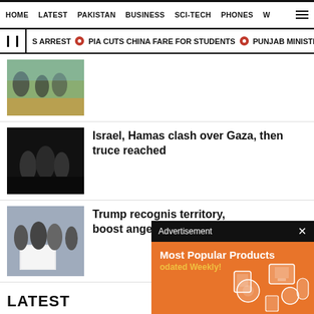HOME   LATEST   PAKISTAN   BUSINESS   SCI-TECH   PHONES   W
S ARREST  •  PIA CUTS CHINA FARE FOR STUDENTS  •  PUNJAB MINISTER DIGS O
[Figure (photo): Outdoor scene with people in a rocky/desert area]
[Figure (photo): Dark image with silhouettes]
Israel, Hamas clash over Gaza, then truce reached
[Figure (photo): Group of men including Trump holding a signed document]
Trump recognis territory, boost angering Syria
[Figure (infographic): Advertisement overlay: Most Popular Products - Updated Weekly! Orange background with product icons]
LATEST